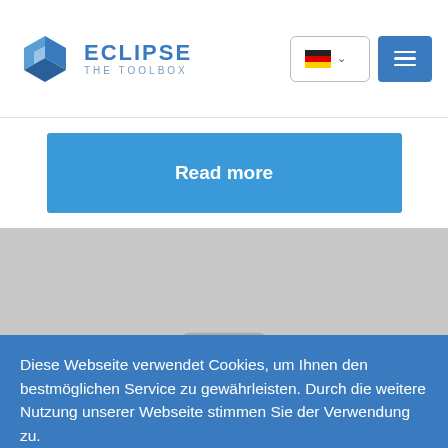[Figure (logo): Eclipse The Toolbox logo with blue geometric icon and text]
[Figure (screenshot): Language selector showing German flag with chevron and hamburger menu button in blue]
Read more
[Figure (photo): Gray placeholder image area with image placeholder icon]
Diese Webseite verwendet Cookies, um Ihnen den bestmöglichen Service zu gewährleisten. Durch die weitere Nutzung unserer Webseite stimmen Sie der Verwendung zu.
Einverstanden